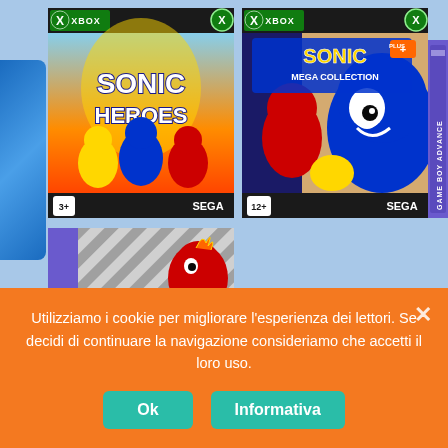[Figure (screenshot): Screenshot of a webpage showing Sonic the Hedgehog game covers for Xbox and Game Boy Advance, with a cookie consent banner overlay at the bottom. Games shown: Sonic Heroes (Xbox), Sonic Mega Collection Plus (Xbox), and a partial Game Boy Advance Sonic game cover.]
Utilizziamo i cookie per migliorare l'esperienza dei lettori. Se decidi di continuare la navigazione consideriamo che accetti il loro uso.
Ok
Informativa